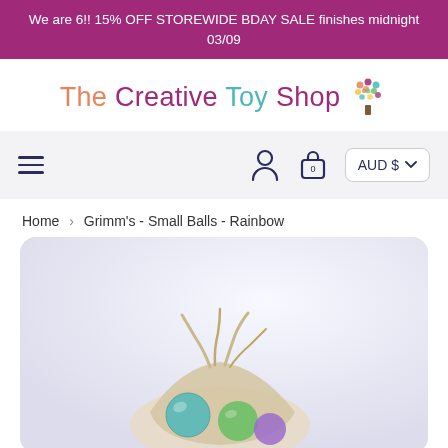We are 6!! 15% OFF STOREWIDE BDAY SALE finishes midnight 03/09
The Creative Toy Shop
[Figure (logo): Colourful tree logo icon next to The Creative Toy Shop text]
[Figure (infographic): Navigation bar with hamburger menu icon, user/account icon, shopping bag icon with 0, and AUD $ currency selector]
Home > Grimm's - Small Balls - Rainbow
[Figure (photo): Product photo of Grimm's Small Balls Rainbow — colourful felted balls in a fabric bag, partially visible at bottom of frame]